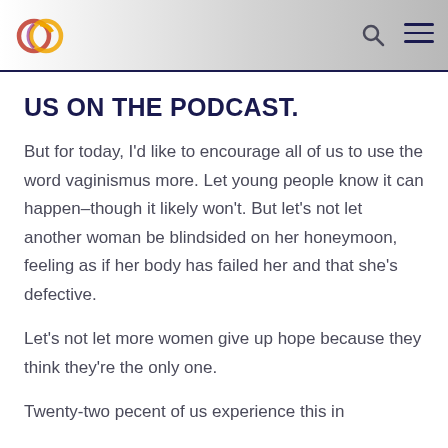US ON THE PODCAST.
But for today, I'd like to encourage all of us to use the word vaginismus more. Let young people know it can happen–though it likely won't. But let's not let another woman be blindsided on her honeymoon, feeling as if her body has failed her and that she's defective.
Let's not let more women give up hope because they think they're the only one.
Twenty-two pecent of us experience this in